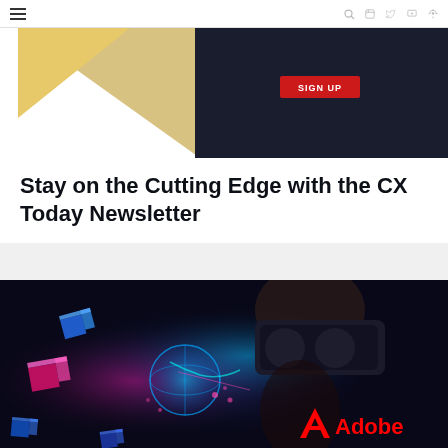≡  [search] [linkedin] [twitter] [youtube] [rss]
[Figure (illustration): Newsletter banner with gold triangle on left, dark navy background on right, and a red SIGN UP button]
Stay on the Cutting Edge with the CX Today Newsletter
[Figure (photo): Person wearing a VR headset surrounded by glowing holographic cubes and a glowing globe, dark background. Adobe logo visible in bottom right corner.]